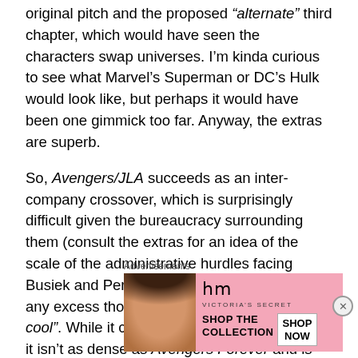original pitch and the proposed "alternate" third chapter, which would have seen the characters swap universes. I'm kinda curious to see what Marvel's Superman or DC's Hulk would look like, but perhaps it would have been one gimmick too far. Anyway, the extras are superb.

So, Avengers/JLA succeeds as an inter-company crossover, which is surprisingly difficult given the bureaucracy surrounding them (consult the extras for an idea of the scale of the administrative hurdles facing Busiek and Perez). It doesn't necessarily need any excess thought beyond "oooh, this is cool". While it contains countless easter eggs, it isn't as dense as Avengers Forever and is quite accessible for anybody with a passin
Advertisements
[Figure (infographic): Victoria's Secret advertisement banner showing a woman with curly hair on the left, Victoria's Secret logo in center, and text 'SHOP THE COLLECTION' with a 'SHOP NOW' button on the right, pink background.]